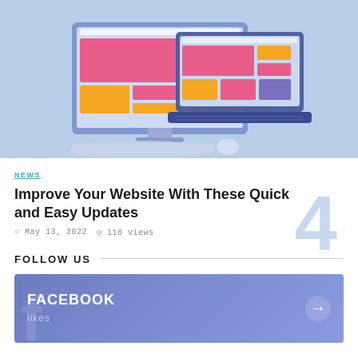[Figure (illustration): Isometric illustration of responsive web design showing a desktop monitor, laptop, and tablet device displaying colorful website layouts with pink, orange/yellow, and purple elements on a light blue background.]
NEWS
Improve Your Website With These Quick and Easy Updates
May 13, 2022  116 views
FOLLOW US
FACEBOOK
likes